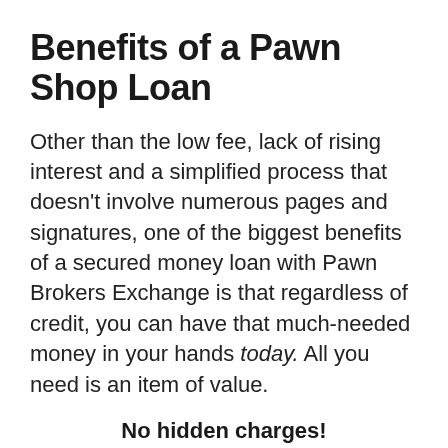Benefits of a Pawn Shop Loan
Other than the low fee, lack of rising interest and a simplified process that doesn't involve numerous pages and signatures, one of the biggest benefits of a secured money loan with Pawn Brokers Exchange is that regardless of credit, you can have that much-needed money in your hands today. All you need is an item of value.
No hidden charges!
No accrued interest!
We provide you with a reasonable amount of time to reclaim your property and almost